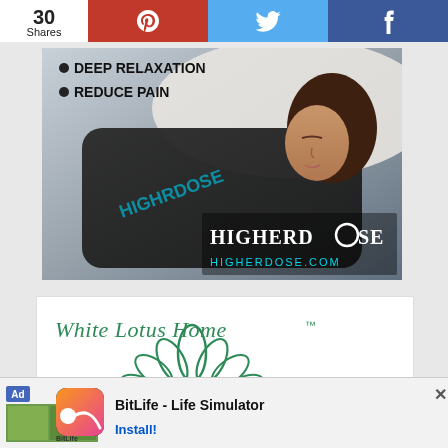30 Shares | Pinterest | Twitter | Facebook
[Figure (photo): HigherDose advertisement showing a woman lying on a mat, text: DEEP RELAXATION, REDUCE PAIN, HIGHERDOSE logo, HIGHERDOSE.COM]
[Figure (logo): White Lotus Home logo with green lotus flower illustration and italic text 'White Lotus Home (TM)']
[Figure (infographic): Mobile app advertisement banner: BitLife - Life Simulator, Install! button, Ad badge, app icon with sperm logo]